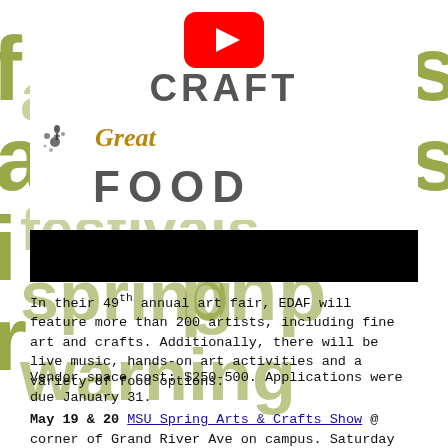[Figure (screenshot): YouTube play button icon overlaid on page header area]
CRAFT
[Figure (illustration): Decorative script text reading 'Great' in gold italic with ink splatter illustration]
FOOD
[Figure (other): Black redaction bar covering a line of text]
In their 49th annual art fair, EDAF will feature more than 200 artists, including fine art and crafts. Additionally, there will be live music, hands-on art activities and a variety of food options.
Vendor space cost: $250-500. Applications were due January 31.
May 19 & 20 MSU Spring Arts & Crafts Show @ corner of Grand River Ave on campus. Saturday